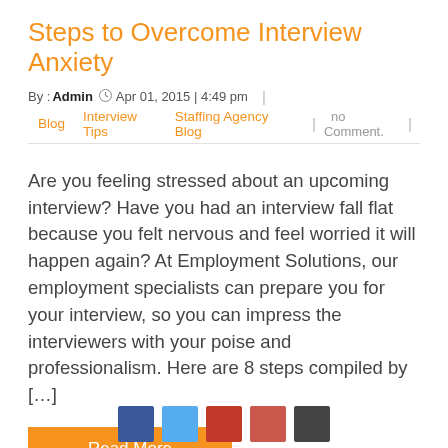Steps to Overcome Interview Anxiety
By : Admin  Apr 01, 2015 | 4:49 pm
Blog   Interview Tips   Staffing Agency Blog   no Comment.
Are you feeling stressed about an upcoming interview? Have you had an interview fall flat because you felt nervous and feel worried it will happen again? At Employment Solutions, our employment specialists can prepare you for your interview, so you can impress the interviewers with your poise and professionalism. Here are 8 steps compiled by […]
Read More